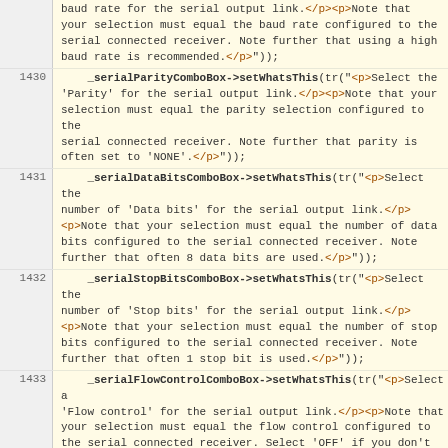| line | code |
| --- | --- |
|  | baud rate for the serial output link.</p><p>Note that your selection must equal the baud rate configured to the serial connected receiver. Note further that using a high baud rate is recommended.</p>")); |
| 1430 |     _serialParityComboBox->setWhatsThis(tr("<p>Select the 'Parity' for the serial output link.</p><p>Note that your selection must equal the parity selection configured to the serial connected receiver. Note further that parity is often set to 'NONE'.</p>")); |
| 1431 |     _serialDataBitsComboBox->setWhatsThis(tr("<p>Select the number of 'Data bits' for the serial output link.</p><p>Note that your selection must equal the number of data bits configured to the serial connected receiver. Note further that often 8 data bits are used.</p>")); |
| 1432 |     _serialStopBitsComboBox->setWhatsThis(tr("<p>Select the number of 'Stop bits' for the serial output link.</p><p>Note that your selection must equal the number of stop bits configured to the serial connected receiver. Note further that often 1 stop bit is used.</p>")); |
| 1433 |     _serialFlowControlComboBox->setWhatsThis(tr("<p>Select a 'Flow control' for the serial output link.</p><p>Note that your selection must equal the flow control configured to the serial connected receiver. Select 'OFF' if you don't know better.</p>")); |
| 1434 |     _serialAutoNMEAComboBox->setWhatsThis(tr("<p>Select 'Auto' to automatically forward NMEA-GGA messages coming from your serial connected receiver to the NTRIP broadcaster and/or save them in a file.</p><p>Select 'Manual' only when handling a VRS stream and your serial connected receiver doesn't generate NMEA-GGA messages.</p>")); |
| 1435 |     _serialFileNMEALineEdit->setWhatsThis(tr("<p>Specify the full path to a file where NMEA messages coming from your serial connected receiver are saved.</p>")); |